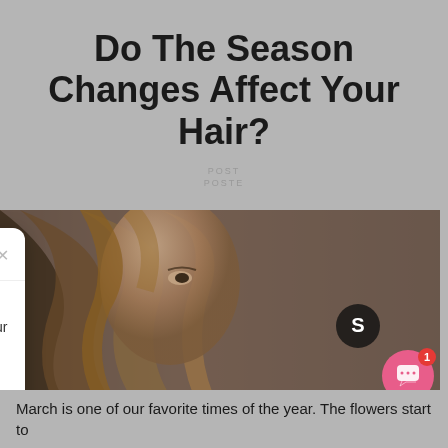Do The Season Changes Affect Your Hair?
POSTED
POSTED
[Figure (photo): Woman with long wavy brown hair, Straight Ahead Beauty logo watermark]
[Figure (screenshot): Chat popup widget from Straight Ahead Beauty. Header: 'Straight from Straight Ahead Beauty'. Message: 'Welcome to Straight Ahead Beauty. My name is Veronica your Beauty Concierge. I can assist with purchases and additional information. Feel free to contact me or email cs@straightaheadbeauty.com'. Reply input field with emoji and attachment icons. Pink chat button with badge '1'.]
March is one of our favorite times of the year. The flowers start to